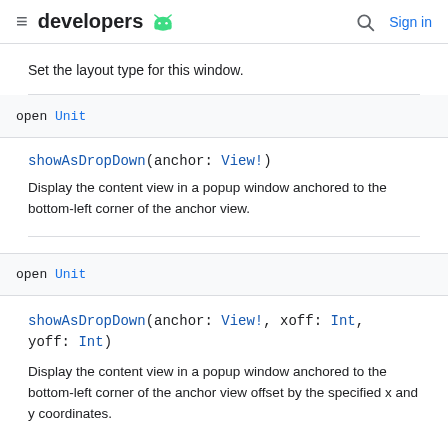developers [android icon] | Sign in
Set the layout type for this window.
open Unit
showAsDropDown(anchor: View!)
Display the content view in a popup window anchored to the bottom-left corner of the anchor view.
open Unit
showAsDropDown(anchor: View!, xoff: Int, yoff: Int)
Display the content view in a popup window anchored to the bottom-left corner of the anchor view offset by the specified x and y coordinates.